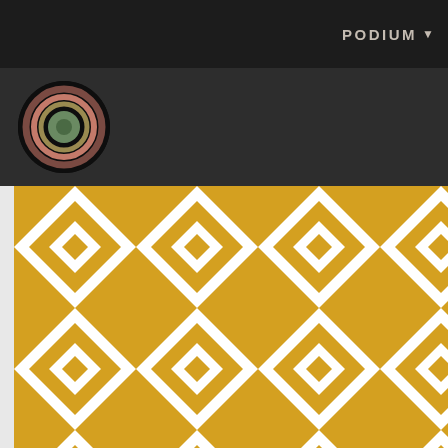PODIUM ▼
[Figure (illustration): Circular avatar with concentric colored rings (dark olive, rose, sage green) on black background in a dark header bar]
[Figure (illustration): Golden yellow and white geometric pattern tile — diamond and triangle shapes in a repeating mosaic pattern]
Jake the Snake
Seattle, WA
Total (7 Tourneys)
Wins    Losses  Ties        Games   Goals       Against Delta